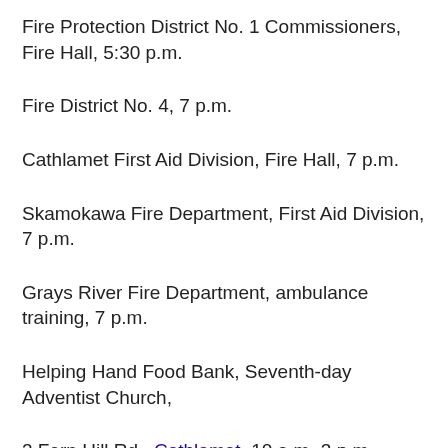Fire Protection District No. 1 Commissioners, Fire Hall, 5:30 p.m.
Fire District No. 4, 7 p.m.
Cathlamet First Aid Division, Fire Hall, 7 p.m.
Skamokawa Fire Department, First Aid Division, 7 p.m.
Grays River Fire Department, ambulance training, 7 p.m.
Helping Hand Food Bank, Seventh-day Adventist Church,
3 Fern Hill Rd., Cathlamet, 10 a.m.-3 p.m.